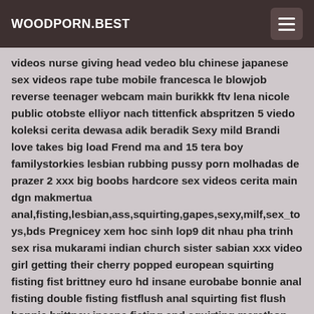WOODPORN.BEST
videos nurse giving head vedeo blu chinese japanese sex videos rape tube mobile francesca le blowjob reverse teenager webcam main burikkk ftv lena nicole public otobste elliyor nach tittenfick abspritzen 5 viedo koleksi cerita dewasa adik beradik Sexy mild Brandi love takes big load Frend ma and 15 tera boy familystorkies lesbian rubbing pussy porn molhadas de prazer 2 xxx big boobs hardcore sex videos cerita main dgn makmertua anal,fisting,lesbian,ass,squirting,gapes,sexy,milf,sex_toys,bds Pregnicey xem hoc sinh lop9 dit nhau pha trinh sex risa mukarami indian church sister sabian xxx video girl getting their cherry popped european squirting fisting fist brittney euro hd insane eurobabe bonnie anal fisting double fisting fistflush anal squirting fist flush bonnie brittney insane fisting and squirting marathon must see ssnny leone fc promogari sexy Bhuk kashi pooja hot saxy xxx video teen